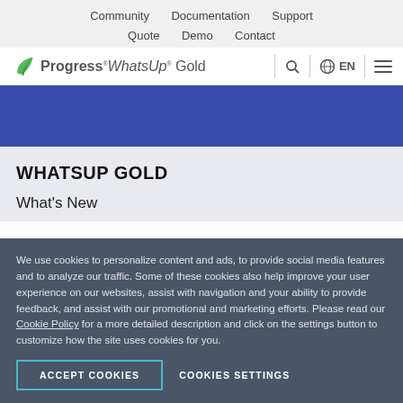Community  Documentation  Support  Quote  Demo  Contact
[Figure (logo): Progress WhatsUp Gold logo with green leaf icon, search icon, globe EN language selector, and hamburger menu icon]
[Figure (other): Blue banner background strip]
WHATSUP GOLD
What's New
We use cookies to personalize content and ads, to provide social media features and to analyze our traffic. Some of these cookies also help improve your user experience on our websites, assist with navigation and your ability to provide feedback, and assist with our promotional and marketing efforts. Please read our Cookie Policy for a more detailed description and click on the settings button to customize how the site uses cookies for you.
ACCEPT COOKIES    COOKIES SETTINGS